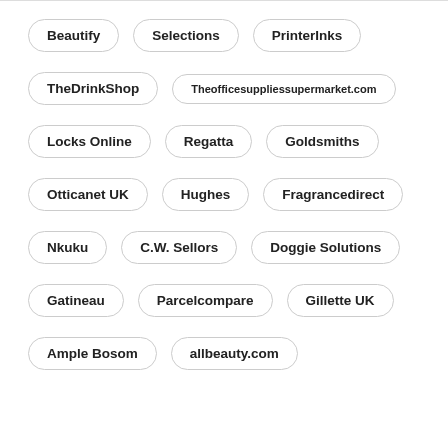Beautify
Selections
PrinterInks
TheDrinkShop
Theofficesuppliessupermarket.com
Locks Online
Regatta
Goldsmiths
Otticanet UK
Hughes
Fragrancedirect
Nkuku
C.W. Sellors
Doggie Solutions
Gatineau
Parcelcompare
Gillette UK
Ample Bosom
allbeauty.com